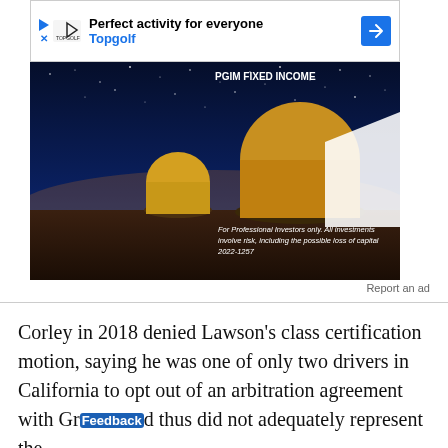[Figure (screenshot): Advertisement banner for Topgolf with play button, logo, text 'Perfect activity for everyone' and 'Topgolf', and blue arrow icon]
[Figure (photo): Night sky observatory photo showing telescope domes against starry blue sky, with text overlay: 'For Professional Investors only. All investments involve risk, including the possible loss of capital 2022-1257' and PGIM Fixed Income branding]
Report an ad
Corley in 2018 denied Lawson's class certification motion, saying he was one of only two drivers in California to opt out of an arbitration agreement with Gr[ubhub] and thus did not adequately represent the